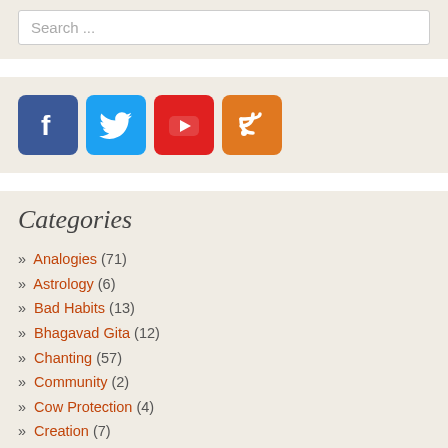Search ...
[Figure (infographic): Social media icons: Facebook (blue), Twitter (light blue), YouTube (red), RSS (orange)]
Categories
» Analogies (71)
» Astrology (6)
» Bad Habits (13)
» Bhagavad Gita (12)
» Chanting (57)
» Community (2)
» Cow Protection (4)
» Creation (7)
» Deity Worship (10)
» Demigod Worship (17)
» Devotee (39)